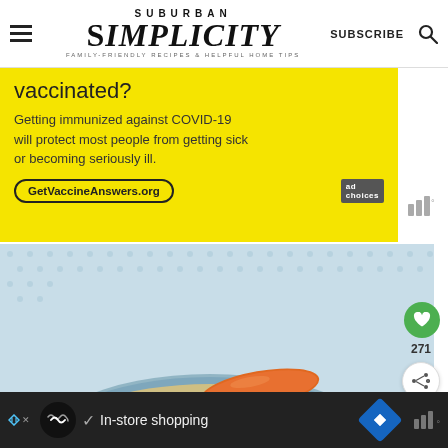SUBURBAN SIMPLICITY — FAMILY-FRIENDLY RECIPES & HELPFUL HOME TIPS — SUBSCRIBE
[Figure (screenshot): Yellow advertisement banner for vaccine information. Text reads: 'vaccinated? Getting immunized against COVID-19 will protect most people from getting sick or becoming seriously ill. GetVaccineAnswers.org']
[Figure (photo): Close-up photo of a bowl containing a vegetable and grain dish with a large baby carrot on top, broccoli, and what appears to be barley or cauliflower rice with nuts, in a blue/grey ceramic bowl on a blue patterned background.]
[Figure (screenshot): Bottom advertisement bar showing 'In-store shopping' with Google Maps navigation icon, on dark background with Moat analytics logo.]